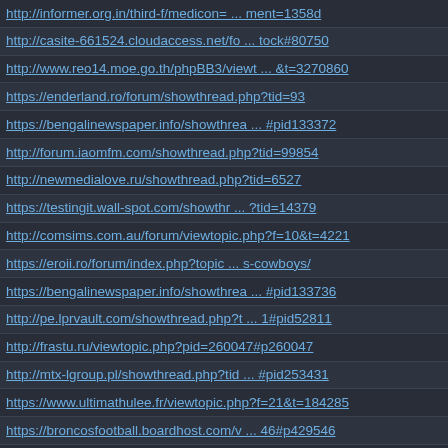http://informer.org.in/third-f/medicon= ... ment=1358d
http://casite-661524.cloudaccess.net/fo ... tock#80750
http://www.reo14.moe.go.th/phpBB3/viewt ... &t=3270860
https://enderland.ro/forum/showthread.php?tid=93
https://bengalinewspaper.info/showthrea ... #pid133372
http://forum.iaomfm.com/showthread.php?tid=99854
http://newmedialove.ru/showthread.php?tid=6527
https://testingit.wall-spot.com/showthr ... ?tid=14379
http://comsims.com.au/forum/viewtopic.php?f=10&t=4221
https://eroii.ro/forum/index.php?topic ... s-cowboys/
https://bengalinewspaper.info/showthrea ... #pid133736
http://pe.lprvault.com/showthread.php?t ... 1#pid52811
http://frastu.ru/viewtopic.php?pid=260047#p260047
http://mtx-lgroup.pl/showthread.php?tid ... #pid253431
https://www.ultimathulee.fr/viewtopic.php?f=21&t=184285
https://broncosfootball.boardhost.com/v ... 46#p429546
https://12sky2.net/showthread.php?tid=9438
https://forum.amperak.cz/viewtopic.php?f=26&t=105772
https://razvodnya.ru/viewtopic.php?f=2&t=406297
https://forum.libertysky.vn/showthread. ... 4#pid37334
https://www.eurokeks.com/questions/356840
http://elektromobiliu-forumas.lt/viewtopic.php?t=21128
http://forum.xn----7sbgje3a0a5a0g.xn--p ... 6&t=140602
http://www.reo14.moe.go.th/phpBB3/viewt ... &t=3271101
https://forum.nebisoftware.com/showthre ... 0#pid11130